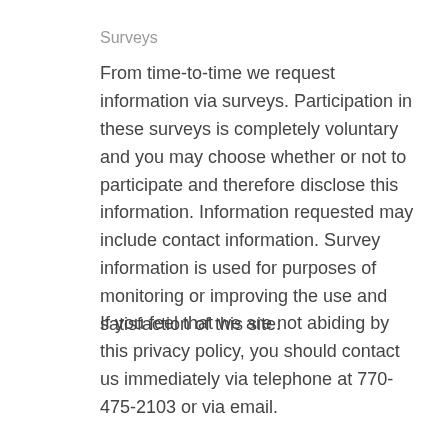Surveys
From time-to-time we request information via surveys. Participation in these surveys is completely voluntary and you may choose whether or not to participate and therefore disclose this information. Information requested may include contact information. Survey information is used for purposes of monitoring or improving the use and satisfaction of this site.
If you feel that we are not abiding by this privacy policy, you should contact us immediately via telephone at 770-475-2103 or via email.